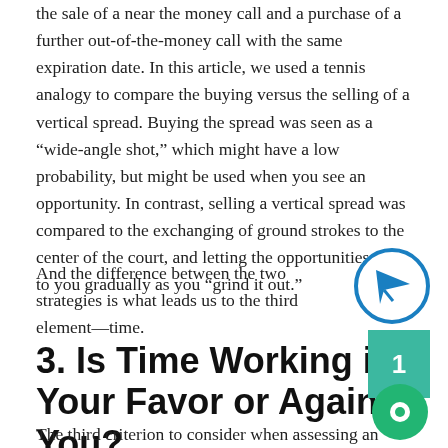the sale of a near the money call and a purchase of a further out-of-the-money call with the same expiration date. In this article, we used a tennis analogy to compare the buying versus the selling of a vertical spread. Buying the spread was seen as a “wide-angle shot,” which might have a low probability, but might be used when you see an opportunity. In contrast, selling a vertical spread was compared to the exchanging of ground strokes to the center of the court, and letting the opportunities come to you gradually as you “grind it out.”
And the difference between the two strategies is what leads us to the third element—time.
3. Is Time Working in Your Favor or Against You?
The third criterion to consider when assessing an